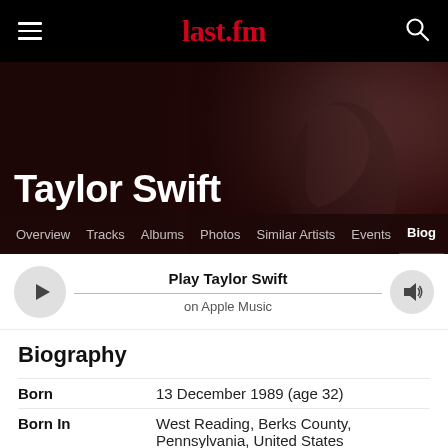last.fm
[Figure (screenshot): Taylor Swift artist hero image with dark overlay, name, and navigation tabs]
Taylor Swift
Overview  Tracks  Albums  Photos  Similar Artists  Events  Biog
Play Taylor Swift
on Apple Music
Biography
| Born | 13 December 1989 (age 32) |
| Born In | West Reading, Berks County, Pennsylvania, United States |
[partial row cut off at bottom]